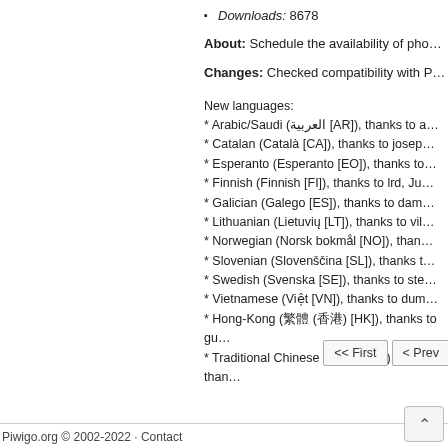Downloads: 8678
About: Schedule the availability of pho…
Changes: Checked compatibility with P…
New languages:
* Arabic/Saudi (العربية [AR]), thanks to a…
* Catalan (Català [CA]), thanks to josep…
* Esperanto (Esperanto [EO]), thanks to…
* Finnish (Finnish [FI]), thanks to lrd, Ju…
* Galician (Galego [ES]), thanks to dam…
* Lithuanian (Lietuvių [LT]), thanks to vil…
* Norwegian (Norsk bokmål [NO]), than…
* Slovenian (Slovenščina [SL]), thanks t…
* Swedish (Svenska [SE]), thanks to ste…
* Vietnamese (Việt [VN]), thanks to dum…
* Hong-Kong (繁體 (香港) [HK]), thanks to gu…
* Traditional Chinese (繁體 (台灣) [TW]), than…
Piwigo.org © 2002-2022 · Contact